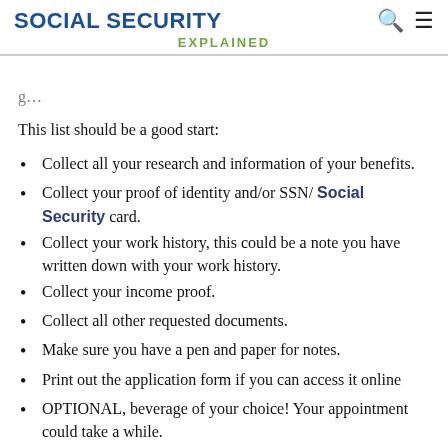SOCIAL SECURITY EXPLAINED
g…
This list should be a good start:
Collect all your research and information of your benefits.
Collect your proof of identity and/or SSN/ Social Security card.
Collect your work history, this could be a note you have written down with your work history.
Collect your income proof.
Collect all other requested documents.
Make sure you have a pen and paper for notes.
Print out the application form if you can access it online
OPTIONAL, beverage of your choice! Your appointment could take a while.